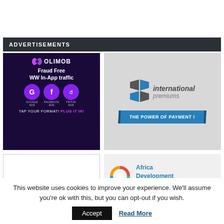ADVERTISEMENTS
[Figure (illustration): Olimob ad: dark purple background, 'Fraud Free WW In-App traffic', Google Ads, Facebook Ads, TikTok Ads icons, 'TAP YOUR FORMAT! PLUG IT IN!']
[Figure (illustration): International Premiums ad: logo with blue/grey arrow shapes, text 'international premiums', blue banner 'THE POWER OF PAYMENT!']
[Figure (logo): Africa Development Connect logo with multicolor knot icon and blue text 'Africa Development Connect']
This website uses cookies to improve your experience. We'll assume you're ok with this, but you can opt-out if you wish.
Accept
Read More